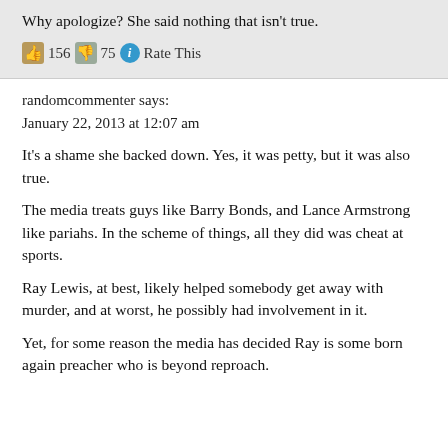Why apologize? She said nothing that isn't true.
👍 156 👎 75 ℹ Rate This
randomcommenter says:
January 22, 2013 at 12:07 am
It's a shame she backed down. Yes, it was petty, but it was also true.
The media treats guys like Barry Bonds, and Lance Armstrong like pariahs. In the scheme of things, all they did was cheat at sports.
Ray Lewis, at best, likely helped somebody get away with murder, and at worst, he possibly had involvement in it.
Yet, for some reason the media has decided Ray is some born again preacher who is beyond reproach.